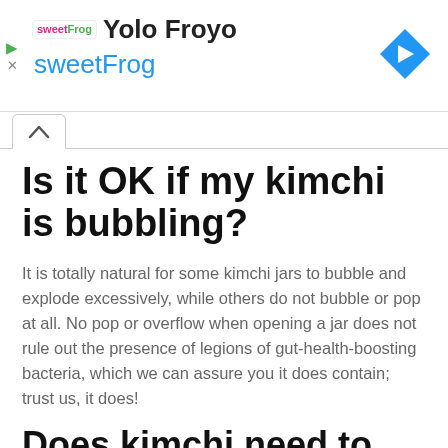[Figure (screenshot): Ad banner for Yolo Froyo / sweetFrog with logo, brand name, and navigation arrow icon]
Is it OK if my kimchi is bubbling?
It is totally natural for some kimchi jars to bubble and explode excessively, while others do not bubble or pop at all. No pop or overflow when opening a jar does not rule out the presence of legions of gut-health-boosting bacteria, which we can assure you it does contain; trust us, it does!
Does kimchi need to...